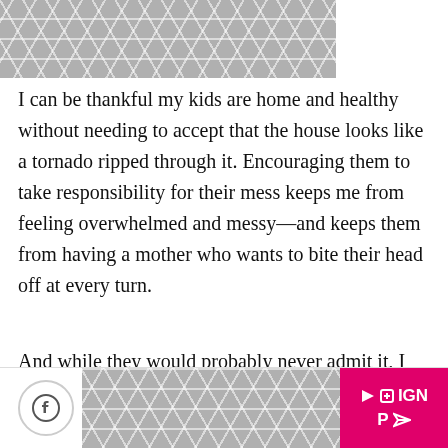[Figure (illustration): Gray geometric diamond/hexagon tile pattern image at the top of the page]
I can be thankful my kids are home and healthy without needing to accept that the house looks like a tornado ripped through it. Encouraging them to take responsibility for their mess keeps me from feeling overwhelmed and messy—and keeps them from having a mother who wants to bite their head off at every turn.
And while they would probably never admit it, I think helping to keep the house clean not only gives th...
[Figure (illustration): Bottom navigation bar with Facebook icon, gray geometric pattern, and pink SIGN / P button with arrow icons]